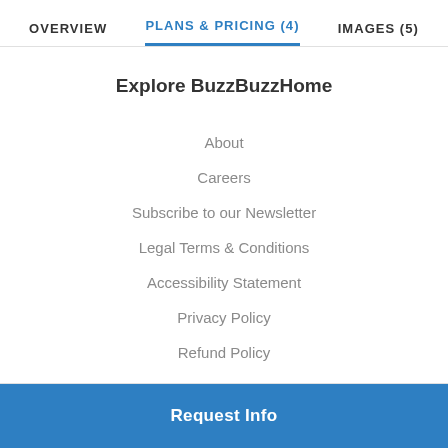OVERVIEW   PLANS & PRICING (4)   IMAGES (5)
Explore BuzzBuzzHome
About
Careers
Subscribe to our Newsletter
Legal Terms & Conditions
Accessibility Statement
Privacy Policy
Refund Policy
Request Info